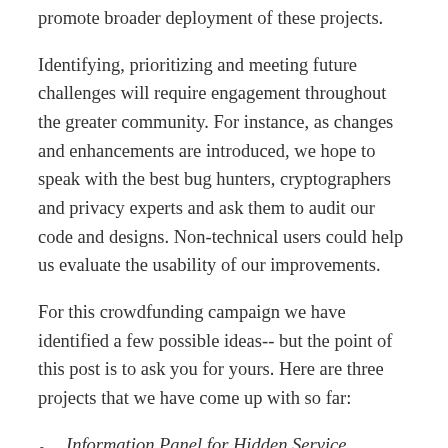promote broader deployment of these projects.
Identifying, prioritizing and meeting future challenges will require engagement throughout the greater community. For instance, as changes and enhancements are introduced, we hope to speak with the best bug hunters, cryptographers and privacy experts and ask them to audit our code and designs. Non-technical users could help us evaluate the usability of our improvements.
For this crowdfunding campaign we have identified a few possible ideas-- but the point of this post is to ask you for yours. Here are three projects that we have come up with so far:
Information Panel for Hidden Service Operators